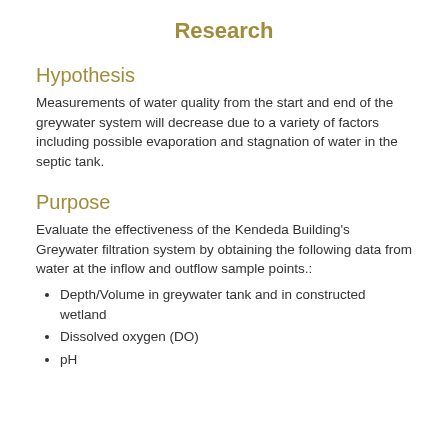Research
Hypothesis
Measurements of water quality from the start and end of the greywater system will decrease due to a variety of factors including possible evaporation and stagnation of water in the septic tank.
Purpose
Evaluate the effectiveness of the Kendeda Building's Greywater filtration system by obtaining the following data from water at the inflow and outflow sample points.:
Depth/Volume in greywater tank and in constructed wetland
Dissolved oxygen (DO)
pH